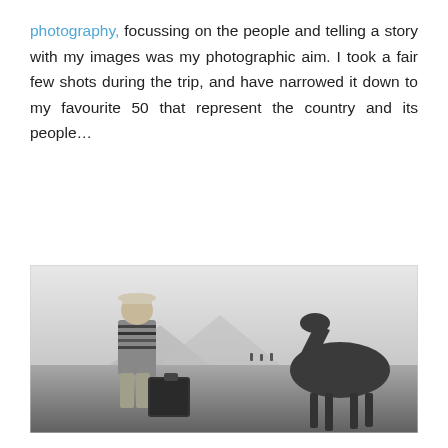photography, focussing on the people and telling a story with my images was my photographic aim. I took a fair few shots during the trip, and have narrowed it down to my favourite 50 that represent the country and its people…
[Figure (photo): Black and white photograph of a young child wearing a striped sweater with 'OSUPEI' text and a bucket hat, dragging a large dark bag across open ground, with a horse visible on the right side and mountains in the background.]